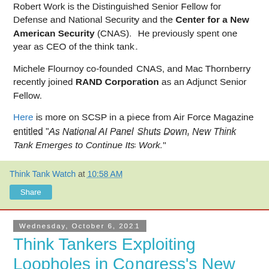Robert Work is the Distinguished Senior Fellow for Defense and National Security and the Center for a New American Security (CNAS). He previously spent one year as CEO of the think tank.
Michele Flournoy co-founded CNAS, and Mac Thornberry recently joined RAND Corporation as an Adjunct Senior Fellow.
Here is more on SCSP in a piece from Air Force Magazine entitled "As National AI Panel Shuts Down, New Think Tank Emerges to Continue Its Work."
Think Tank Watch at 10:58 AM
Share
Wednesday, October 6, 2021
Think Tankers Exploiting Loopholes in Congress's New Conflict of Interest Rules